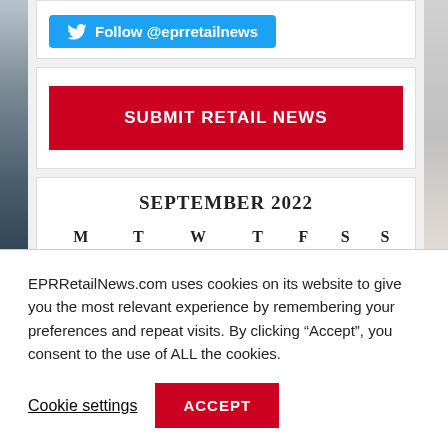[Figure (screenshot): Twitter follow button: Follow @eprretailnews]
SUBMIT RETAIL NEWS
| M | T | W | T | F | S | S |
| --- | --- | --- | --- | --- | --- | --- |
|  |  |  | 1 | 2 | 3 | 4 |
EPRRetailNews.com uses cookies on its website to give you the most relevant experience by remembering your preferences and repeat visits. By clicking “Accept”, you consent to the use of ALL the cookies.
Cookie settings
ACCEPT